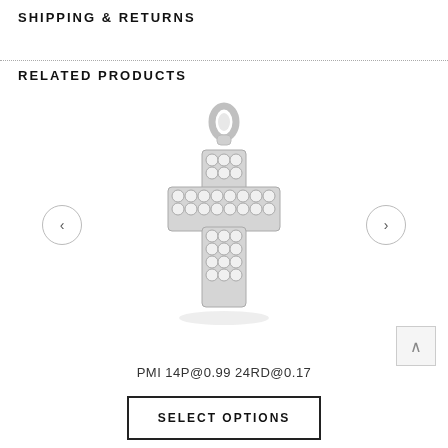SHIPPING & RETURNS
RELATED PRODUCTS
[Figure (photo): A silver cross pendant set with round cubic zirconia stones arranged in a cross pattern, with a bail at the top for hanging on a chain. Navigation arrows on left and right sides.]
PMI 14P@0.99 24RD@0.17
SELECT OPTIONS